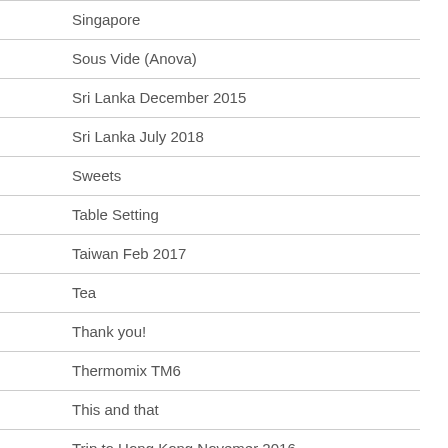Singapore
Sous Vide (Anova)
Sri Lanka December 2015
Sri Lanka July 2018
Sweets
Table Setting
Taiwan Feb 2017
Tea
Thank you!
Thermomix TM6
This and that
Trip to Hong Kong Novemer 2016
Trips in England